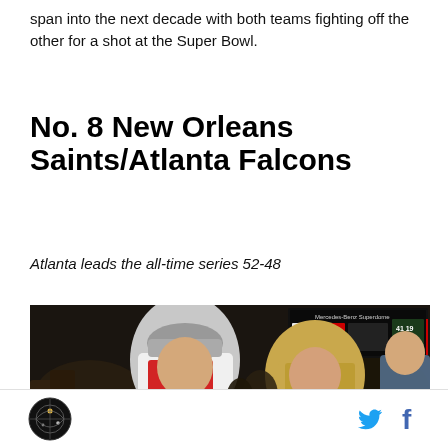span into the next decade with both teams fighting off the other for a shot at the Super Bowl.
No. 8 New Orleans Saints/Atlanta Falcons
Atlanta leads the all-time series 52-48
[Figure (photo): Two NFL quarterbacks shaking hands on the field at the Mercedes-Benz Superdome, one in an Atlanta Falcons white jersey with ATL cap, the other in a New Orleans Saints gold jersey, surrounded by crowd and cameras]